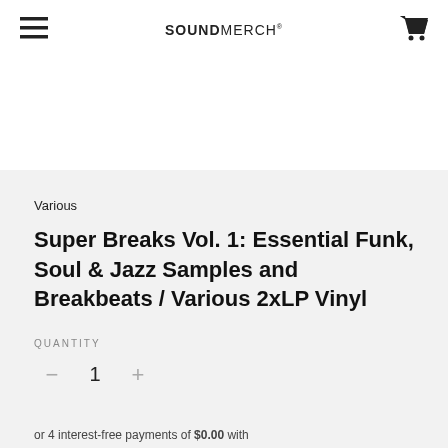SOUNDMERCH
Various
Super Breaks Vol. 1: Essential Funk, Soul & Jazz Samples and Breakbeats / Various 2xLP Vinyl
QUANTITY
1
or 4 interest-free payments of $0.00 with